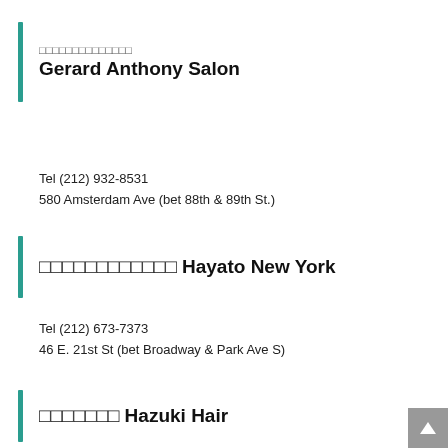□□□□□□□□□□□□□□ Gerard Anthony Salon
Tel (212) 932-8531
580 Amsterdam Ave (bet 88th & 89th St.)
□□□□□□□□□□□□ Hayato New York
Tel (212) 673-7373
46 E. 21st St (bet Broadway & Park Ave S)
□□□□□□□ Hazuki Hair